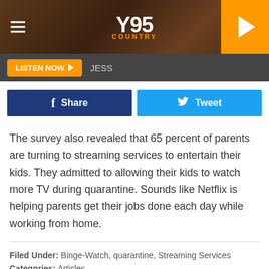Y95 COUNTRY
LISTEN NOW  JESS
[Figure (other): Facebook Share and Twitter Tweet social sharing buttons]
The survey also revealed that 65 percent of parents are turning to streaming services to entertain their kids. They admitted to allowing their kids to watch more TV during quarantine. Sounds like Netflix is helping parents get their jobs done each day while working from home.
Filed Under: Binge-Watch, quarantine, Streaming Services
Categories: Articles